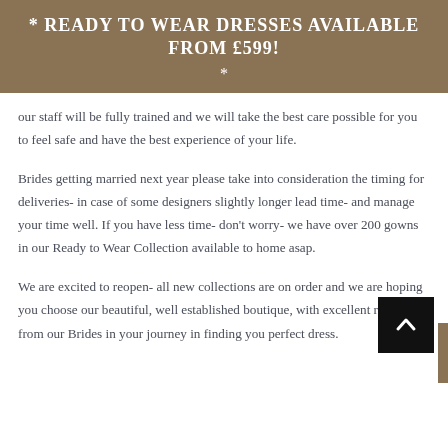* READY TO WEAR DRESSES AVAILABLE FROM £599! *
our staff will be fully trained and we will take the best care possible for you to feel safe and have the best experience of your life.
Brides getting married next year please take into consideration the timing for deliveries- in case of some designers slightly longer lead time- and manage your time well. If you have less time- don't worry- we have over 200 gowns in our Ready to Wear Collection available to home asap.
We are excited to reopen- all new collections are on order and we are hoping you choose our beautiful, well established boutique, with excellent reviews from our Brides in your journey in finding you perfect dress.